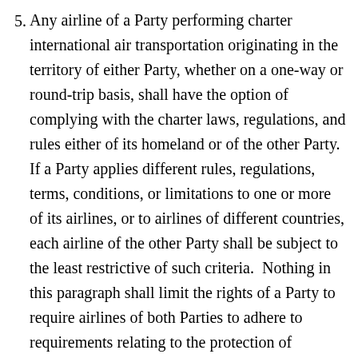5. Any airline of a Party performing charter international air transportation originating in the territory of either Party, whether on a one-way or round-trip basis, shall have the option of complying with the charter laws, regulations, and rules either of its homeland or of the other Party.  If a Party applies different rules, regulations, terms, conditions, or limitations to one or more of its airlines, or to airlines of different countries, each airline of the other Party shall be subject to the least restrictive of such criteria.  Nothing in this paragraph shall limit the rights of a Party to require airlines of both Parties to adhere to requirements relating to the protection of passenger funds and passenger cancellation and refund rights.  Except with respect to the consumer protection rules referred to in this paragraph,